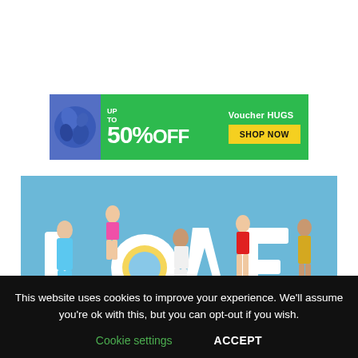[Figure (infographic): Advertisement banner: green background with blue blob texture on left, white text 'UP TO 50% OFF', Voucher HUGS branding, yellow SHOP NOW button]
[Figure (photo): Love Island TV show promotional photo showing cast members posing with large LOVE letters on a light blue background]
This website uses cookies to improve your experience. We'll assume you're ok with this, but you can opt-out if you wish.
Cookie settings   ACCEPT